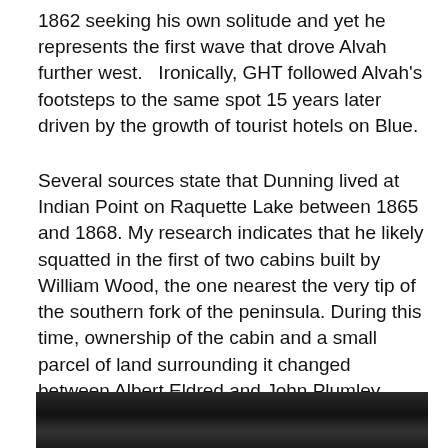1862 seeking his own solitude and yet he represents the first wave that drove Alvah further west.   Ironically, GHT followed Alvah's footsteps to the same spot 15 years later driven by the growth of tourist hotels on Blue.
Several sources state that Dunning lived at Indian Point on Raquette Lake between 1865 and 1868. My research indicates that he likely squatted in the first of two cabins built by William Wood, the one nearest the very tip of the southern fork of the peninsula. During this time, ownership of the cabin and a small parcel of land surrounding it changed between Albert Eldred and John Plumley, both of whom lived elsewhere. Plumley lived in Long Lake and being well acquainted with Alvah, it is conceivable that he allowed this use of his land by Dunning.  5
[Figure (photo): Dark photograph, likely an outdoor or landscape scene, partially visible at the bottom of the page.]